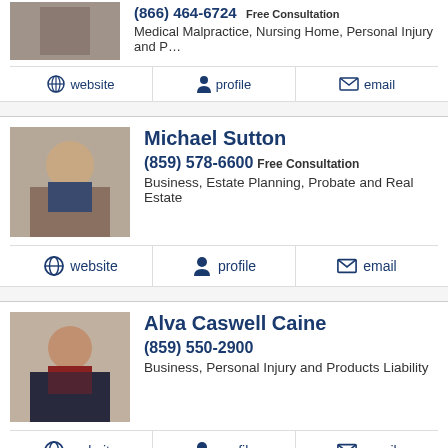(866) 464-6724 Free Consultation
Medical Malpractice, Nursing Home, Personal Injury and P...
website | profile | email
Michael Sutton
(859) 578-6600 Free Consultation
Business, Estate Planning, Probate and Real Estate
website | profile | email
Alva Caswell Caine
(859) 550-2900
Business, Personal Injury and Products Liability
website | profile | email